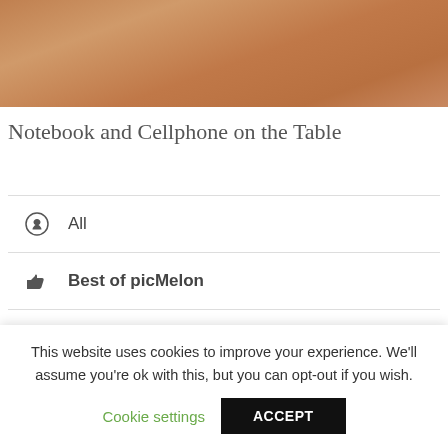[Figure (photo): Photograph of a notebook and cellphone on a table, warm brown tones]
Notebook and Cellphone on the Table
All
Best of picMelon
Animals
Abstract
Architecture
This website uses cookies to improve your experience. We'll assume you're ok with this, but you can opt-out if you wish.
Cookie settings   ACCEPT